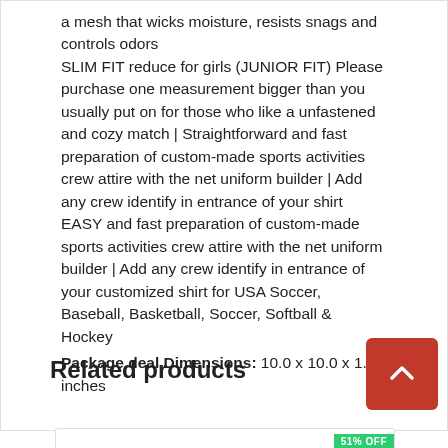a mesh that wicks moisture, resists snags and controls odors
SLIM FIT reduce for girls (JUNIOR FIT) Please purchase one measurement bigger than you usually put on for those who like a unfastened and cozy match | Straightforward and fast preparation of custom-made sports activities crew attire with the net uniform builder | Add any crew identify in entrance of your shirt
EASY and fast preparation of custom-made sports activities crew attire with the net uniform builder | Add any crew identify in entrance of your customized shirt for USA Soccer, Baseball, Basketball, Soccer, Softball & Hockey
Package deal Dimensions: 10.0 x 10.0 x 1.0 inches
Related products
[Figure (other): Product card placeholder with 51% OFF badge]